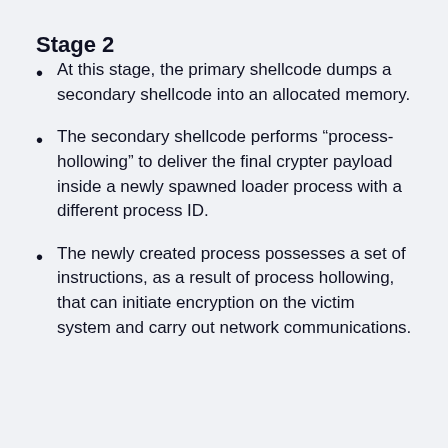Stage 2
At this stage, the primary shellcode dumps a secondary shellcode into an allocated memory.
The secondary shellcode performs “process-hollowing” to deliver the final crypter payload inside a newly spawned loader process with a different process ID.
The newly created process possesses a set of instructions, as a result of process hollowing, that can initiate encryption on the victim system and carry out network communications.